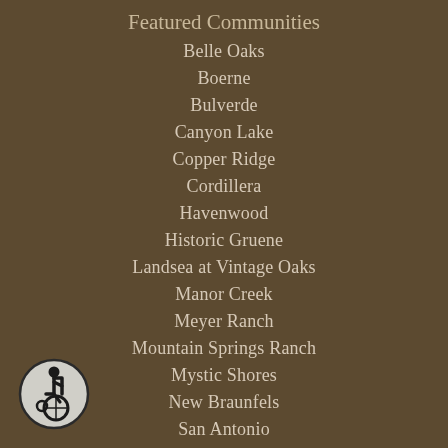Featured Communities
Belle Oaks
Boerne
Bulverde
Canyon Lake
Copper Ridge
Cordillera
Havenwood
Historic Gruene
Landsea at Vintage Oaks
Manor Creek
Meyer Ranch
Mountain Springs Ranch
Mystic Shores
New Braunfels
San Antonio
San Marcos
[Figure (illustration): Wheelchair accessibility icon — circular icon with dark outline showing a person in a wheelchair]